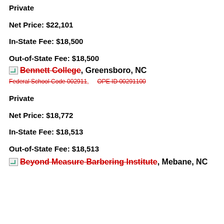Private
Net Price: $22,101
In-State Fee: $18,500
Out-of-State Fee: $18,500
Bennett College, Greensboro, NC
Federal School Code 002911,   OPE ID 00291100
Private
Net Price: $18,772
In-State Fee: $18,513
Out-of-State Fee: $18,513
Beyond Measure Barbering Institute, Mebane, NC